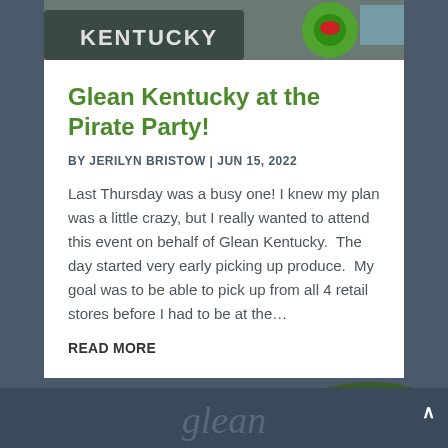[Figure (photo): Partial photo showing a Kentucky-branded item (hat or sign with 'KENTUCKY' text) and a green decorative element, cropped at the top of the page]
Glean Kentucky at the Pirate Party!
BY JERILYN BRISTOW | JUN 15, 2022
Last Thursday was a busy one! I knew my plan was a little crazy, but I really wanted to attend this event on behalf of Glean Kentucky.  The day started very early picking up produce.  My goal was to be able to pick up from all 4 retail stores before I had to be at the…
READ MORE
« OLDER ENTRIES
glean